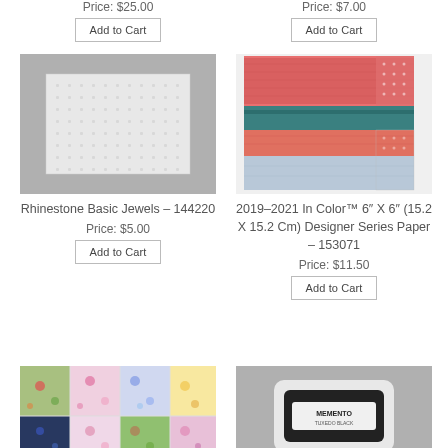Price: $25.00
Price: $7.00
Add to Cart
Add to Cart
[Figure (photo): Rhinestone Basic Jewels product image on grey background]
[Figure (photo): 2019-2021 In Color Designer Series Paper stacked sheets in coral, teal, and light blue]
Rhinestone Basic Jewels – 144220
2019–2021 In Color™ 6″ X 6″ (15.2 X 15.2 Cm) Designer Series Paper – 153071
Price: $5.00
Price: $11.50
Add to Cart
Add to Cart
[Figure (photo): Floral patchwork designer series paper with colorful floral patterns]
[Figure (photo): Memento ink pad in black on grey background]